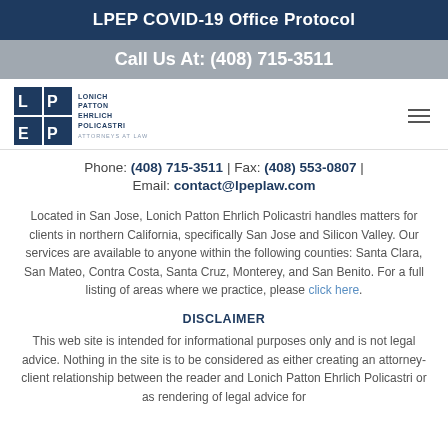LPEP COVID-19 Office Protocol
Call Us At: (408) 715-3511
[Figure (logo): Lonich Patton Ehrlich Policastri law firm logo with LPEP initials and firm name]
Phone: (408) 715-3511 | Fax: (408) 553-0807 | Email: contact@lpeplaw.com
Located in San Jose, Lonich Patton Ehrlich Policastri handles matters for clients in northern California, specifically San Jose and Silicon Valley. Our services are available to anyone within the following counties: Santa Clara, San Mateo, Contra Costa, Santa Cruz, Monterey, and San Benito. For a full listing of areas where we practice, please click here.
DISCLAIMER
This web site is intended for informational purposes only and is not legal advice. Nothing in the site is to be considered as either creating an attorney-client relationship between the reader and Lonich Patton Ehrlich Policastri or as rendering of legal advice for